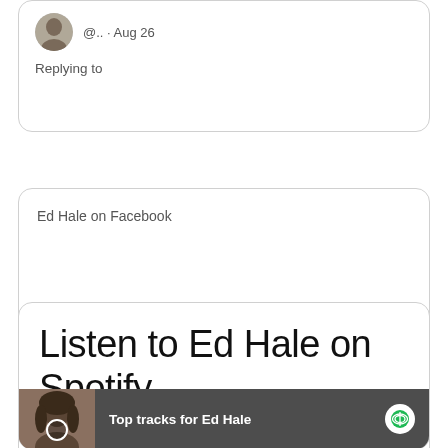[Figure (screenshot): Partial social media post card showing avatar, handle '@...' dated 'Aug 26', and text 'Replying to']
Ed Hale on Facebook
Listen to Ed Hale on Spotify
[Figure (screenshot): Spotify player widget showing 'Top tracks for Ed Hale' with a photo of a man with long hair and the Spotify logo]